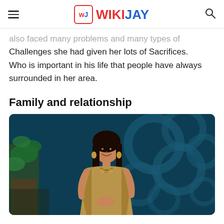WIKIJAY
also faced many problems and many types of Challenges she had given her lots of Sacrifices. Who is important in his life that people have always surrounded in her area.
Family and relationship
[Figure (photo): A woman in a golden/beige salwar kameez smiling, standing in front of a teal/blue decorative background with circular patterns, with green plants visible on the left side.]